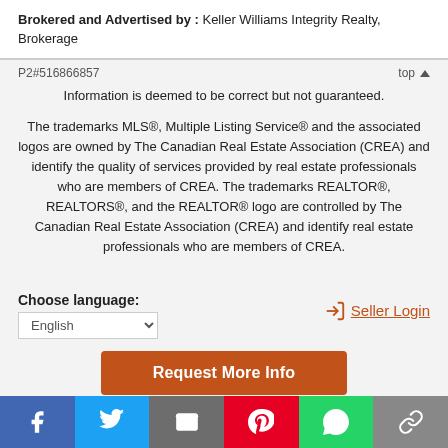Brokered and Advertised by : Keller Williams Integrity Realty, Brokerage
P2#516866857
top ▲
Information is deemed to be correct but not guaranteed.
The trademarks MLS®, Multiple Listing Service® and the associated logos are owned by The Canadian Real Estate Association (CREA) and identify the quality of services provided by real estate professionals who are members of CREA. The trademarks REALTOR®, REALTORS®, and the REALTOR® logo are controlled by The Canadian Real Estate Association (CREA) and identify real estate professionals who are members of CREA.
Choose language:
Seller Login
English
Request More Info